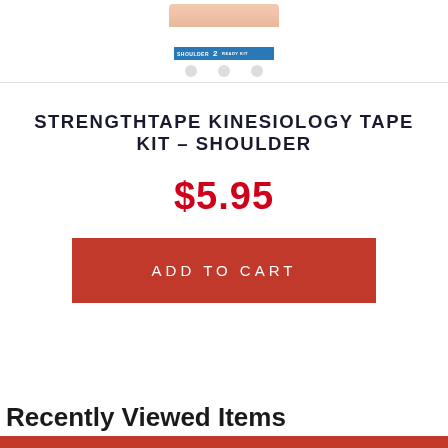[Figure (photo): Partial product image of StrengthTape Kinesiology Tape Kit - Shoulder, showing packaging with a person's shoulder and a blue label area with icons]
STRENGTHTAPE KINESIOLOGY TAPE KIT – SHOULDER
$5.95
ADD TO CART
Recently Viewed Items